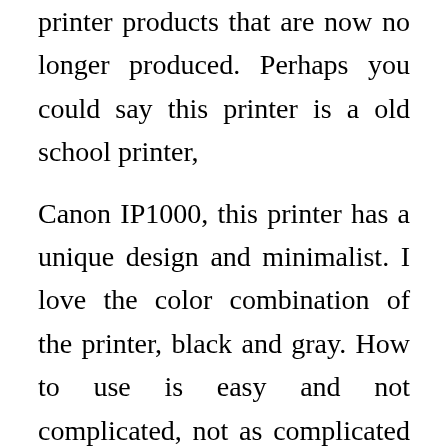printer products that are now no longer produced. Perhaps you could say this printer is a old school printer,
Canon IP1000, this printer has a unique design and minimalist. I love the color combination of the printer, black and gray. How to use is easy and not complicated, not as complicated as these printers today. Canon IP 1000 has a separate print head from the inktank cartridge, so I do not have to worry if